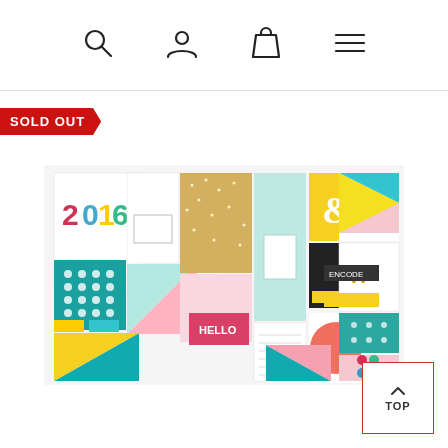[Figure (other): Navigation bar with search, user/account, shopping bag, and hamburger menu icons]
SOLD OUT
[Figure (photo): A colorful collage of 2016-themed scrapbooking/journaling cards and stickers featuring '2016', geometric shapes, patterns, typography, gold glitter, teal, pink, yellow, and white designs.]
TOP